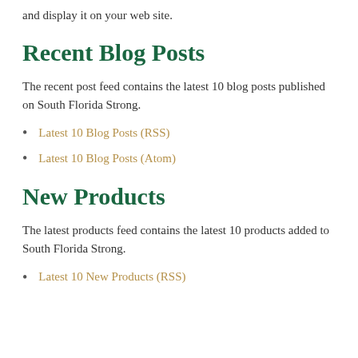and display it on your web site.
Recent Blog Posts
The recent post feed contains the latest 10 blog posts published on South Florida Strong.
Latest 10 Blog Posts (RSS)
Latest 10 Blog Posts (Atom)
New Products
The latest products feed contains the latest 10 products added to South Florida Strong.
Latest 10 New Products (RSS)